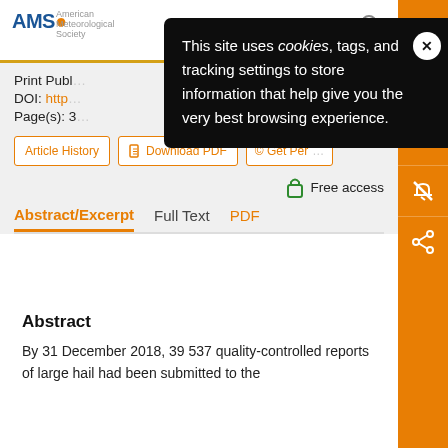[Figure (screenshot): AMS (American Meteorological Society) website header with logo, search icon, and orange sidebar with email, quote, bell, and share icons.]
Print Publ
DOI: http
Page(s): 3
Article History | Download PDF | © Get Per
Free access
Abstract/Excerpt  Full Text  PDF
Abstract
By 31 December 2018, 39 537 quality-controlled reports of large hail had been submitted to the
[Figure (screenshot): Cookie consent popup overlay with dark background reading: 'This site uses cookies, tags, and tracking settings to store information that help give you the very best browsing experience.' with a close (X) button.]